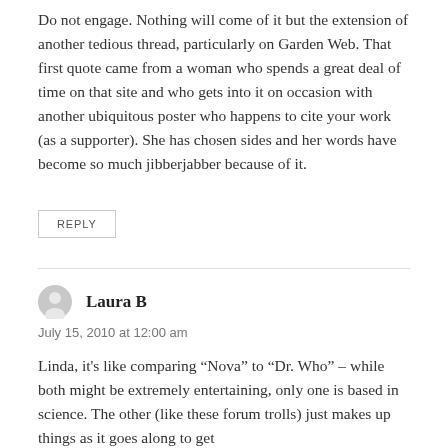Do not engage. Nothing will come of it but the extension of another tedious thread, particularly on Garden Web. That first quote came from a woman who spends a great deal of time on that site and who gets into it on occasion with another ubiquitous poster who happens to cite your work (as a supporter). She has chosen sides and her words have become so much jibberjabber because of it.
REPLY
Laura B
July 15, 2010 at 12:00 am
Linda, it's like comparing “Nova” to “Dr. Who” – while both might be extremely entertaining, only one is based in science. The other (like these forum trolls) just makes up things as it goes along to get